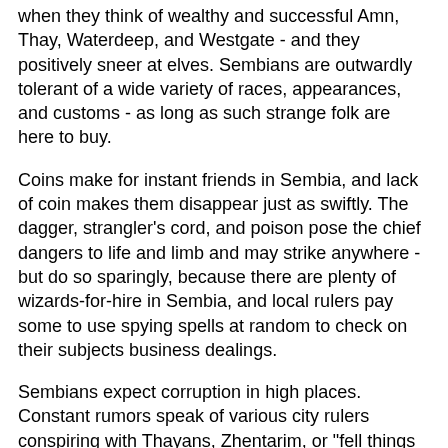when they think of wealthy and successful Amn, Thay, Waterdeep, and Westgate - and they positively sneer at elves. Sembians are outwardly tolerant of a wide variety of races, appearances, and customs - as long as such strange folk are here to buy.
Coins make for instant friends in Sembia, and lack of coin makes them disappear just as swiftly. The dagger, strangler's cord, and poison pose the chief dangers to life and limb and may strike anywhere - but do so sparingly, because there are plenty of wizards-for-hire in Sembia, and local rulers pay some to use spying spells at random to check on their subjects business dealings.
Sembians expect corruption in high places. Constant rumors speak of various city rulers conspiring with Thayans, Zhentarim, or "fell things mages can talk to from afar" to betray their citizens. Underhanded dealings are permissible and even admired - but outright theft or arson are abhorred, and justice can be harsh.